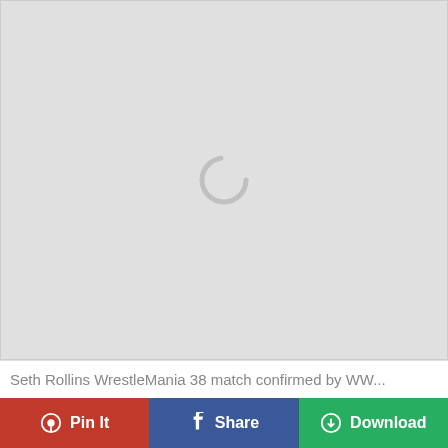[Figure (screenshot): Gray loading area with a circular spinner icon (loading indicator) in the upper-center portion of the image area]
Seth Rollins WrestleMania 38 match confirmed by WW...
Pin It
Share
Download